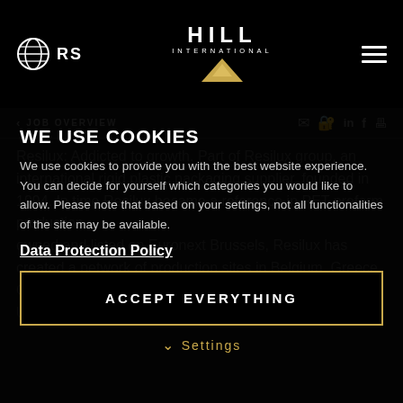RS  HILL INTERNATIONAL
WE USE COOKIES
We use cookies to provide you with the best website experience. You can decide for yourself which categories you would like to allow. Please note that based on your settings, not all functionalities of the site may be available.
Data Protection Policy
ACCEPT EVERYTHING
Settings
Resilux: Addicted to growth. Part of Resilux group, an international rigid plastic packaging supplier, founded in 1994. In time Resilux became a reference in PET preform production, owned and listed on Euronext Brussels, Resilux has created a network of production sites in Belgium, Greece, Germany, Hungary, Serbia, Spain, Switzerland, Russia, Ukraine and the US. Producing over 7 billion preforms,